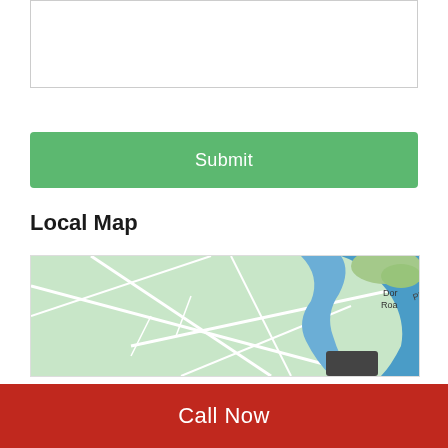[Figure (other): Text area input box (form field), empty, with light grey border]
[Figure (other): Green Submit button]
Local Map
[Figure (map): Local map showing roads including Phalanx Rd, a blue water body/river, and green areas. Partially visible label 'Dor' and 'Roa' on right edge. Dark grey marker box visible near center-right.]
Call Now